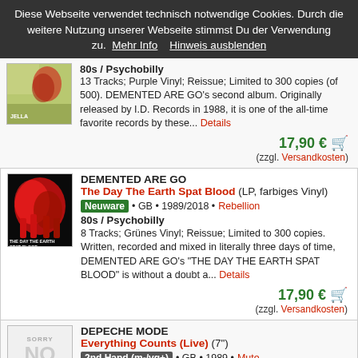Diese Webseite verwendet technisch notwendige Cookies. Durch die weitere Nutzung unserer Webseite stimmst Du der Verwendung zu.  Mehr Info     Hinweis ausblenden
80s / Psychobilly
13 Tracks; Purple Vinyl; Reissue; Limited to 300 copies (of 500). DEMENTED ARE GO's second album. Originally released by I.D. Records in 1988, it is one of the all-time favorite records by these... Details
17,90 € 🛒
(zzgl. Versandkosten)
DEMENTED ARE GO
The Day The Earth Spat Blood (LP, farbiges Vinyl)
Neuware • GB • 1989/2018 • Rebellion
80s / Psychobilly
8 Tracks; Grünes Vinyl; Reissue; Limited to 300 copies. Written, recorded and mixed in literally three days of time, DEMENTED ARE GO's "THE DAY THE EARTH SPAT BLOOD" is without a doubt a... Details
17,90 € 🛒
(zzgl. Versandkosten)
DEPECHE MODE
Everything Counts (Live) (7")
2nd Hand (m-/vg+) • GB • 1989 • Mute
80s / Synth-Pop